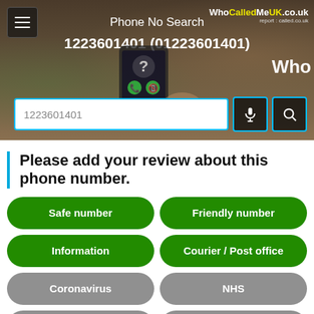WhoCalledMeUK.co.uk
Phone No Search
1223601401 (01223601401)
1223601401
Please add your review about this phone number.
Safe number
Friendly number
Information
Courier / Post office
Coronavirus
NHS
Silent call
HSBC